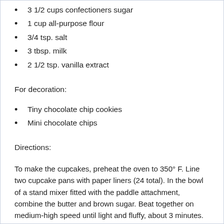3 1/2 cups confectioners sugar
1 cup all-purpose flour
3/4 tsp. salt
3 tbsp. milk
2 1/2 tsp. vanilla extract
For decoration:
Tiny chocolate chip cookies
Mini chocolate chips
Directions:
To make the cupcakes, preheat the oven to 350° F. Line two cupcake pans with paper liners (24 total). In the bowl of a stand mixer fitted with the paddle attachment, combine the butter and brown sugar. Beat together on medium-high speed until light and fluffy, about 3 minutes. Mix in the eggs one at a time, beating well after each addition and scraping down the sides of the bowl as needed.
Combine the flour, baking powder, baking soda, and salt in a...